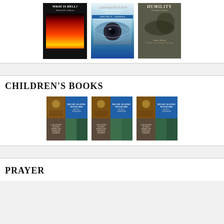[Figure (illustration): Three book covers in a row: 'What Is Hell?' by Edward D. Andrews (dark cover with volcanic fire), 'Imperfection: While We Were Sinners Christ Died For Us' by Edward D. Andrews (blue cover with eye closeup), and 'Humility: The Beauty of Holiness' by Andrew Murray (dark olive cover)]
CHILDREN'S BOOKS
[Figure (illustration): Three identical 'Read Along With Me' children's book covers by Betty L. Edersheim showing collage of family photos and nature scenes]
PRAYER